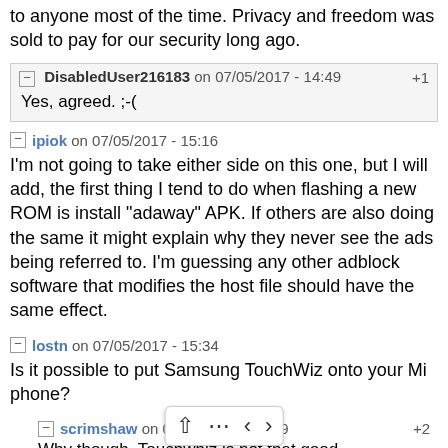to anyone most of the time. Privacy and freedom was sold to pay for our security long ago.
DisabledUser216183 on 07/05/2017 - 14:49  +1
Yes, agreed. ;-(
ipiok on 07/05/2017 - 15:16
I'm not going to take either side on this one, but I will add, the first thing I tend to do when flashing a new ROM is install "adaway" APK. If others are also doing the same it might explain why they never see the ads being referred to. I'm guessing any other adblock software that modifies the host file should have the same effect.
lostn on 07/05/2017 - 15:34
Is it possible to put Samsung TouchWiz onto your Mi phone?
scrimshaw on 07/05/2017 - 15:49  +2
Why though. Touchwhiz is not that good.